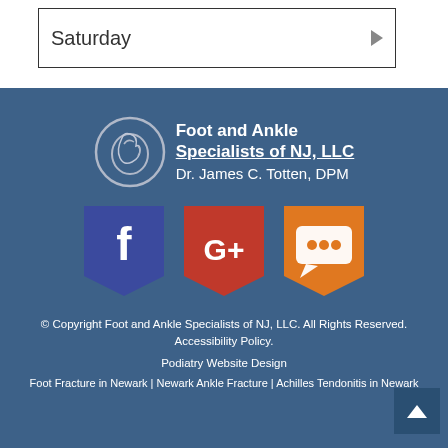Saturday
[Figure (logo): Foot and Ankle Specialists of NJ, LLC logo with circular foot icon and text]
[Figure (illustration): Three social media badges: Facebook (blue shield with f), Google+ (red shield with G+), and a chat/review badge (orange shield with speech bubble dots)]
© Copyright Foot and Ankle Specialists of NJ, LLC. All Rights Reserved. Accessibility Policy.
Podiatry Website Design
Foot Fracture in Newark | Newark Ankle Fracture | Achilles Tendonitis in Newark